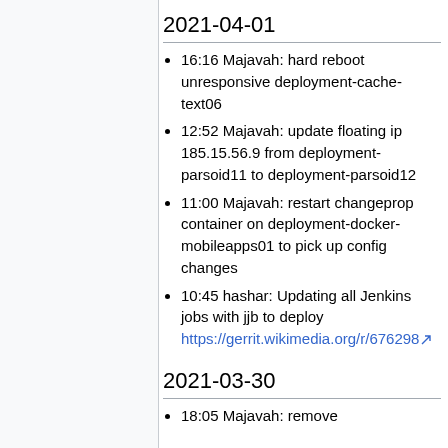2021-04-01
16:16 Majavah: hard reboot unresponsive deployment-cache-text06
12:52 Majavah: update floating ip 185.15.56.9 from deployment-parsoid11 to deployment-parsoid12
11:00 Majavah: restart changeprop container on deployment-docker-mobileapps01 to pick up config changes
10:45 hashar: Updating all Jenkins jobs with jjb to deploy https://gerrit.wikimedia.org/r/676298
2021-03-30
18:05 Majavah: remove